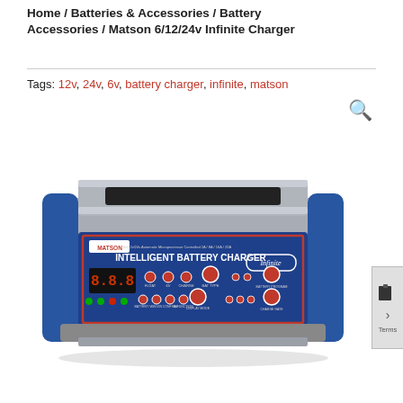Home / Batteries & Accessories / Battery Accessories / Matson 6/12/24v Infinite Charger
Tags: 12v, 24v, 6v, battery charger, infinite, matson
[Figure (photo): Matson Intelligent Battery Charger - a blue and silver rectangular battery charger with red display and multiple control buttons on the front panel, labeled 'INTELLIGENT BATTERY CHARGER' and 'Infinite' branding]